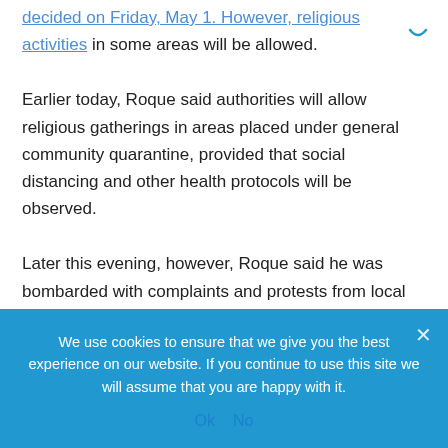...decided on Friday, May 1. However, religious activities in some areas will be allowed.
Earlier today, Roque said authorities will allow religious gatherings in areas placed under general community quarantine, provided that social distancing and other health protocols will be observed.
Later this evening, however, Roque said he was bombarded with complaints and protests from local government officials after he announced the initial decision of the inter-agency task force.
We use cookies to ensure that we give you the best experience on our website. If you continue to use this site we will assume that you are happy with it.